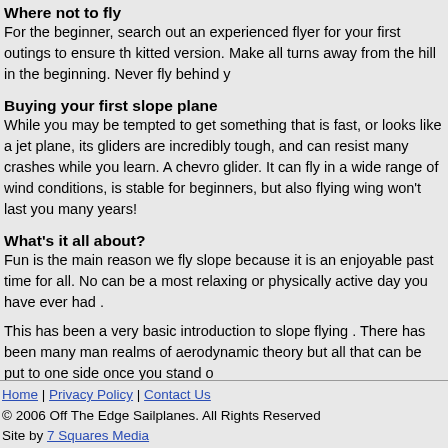Where not to fly
For the beginner, search out an experienced flyer for your first outings to ensure th kitted version. Make all turns away from the hill in the beginning. Never fly behind y
Buying your first slope plane
While you may be tempted to get something that is fast, or looks like a jet plane, its gliders are incredibly tough, and can resist many crashes while you learn. A chevro glider. It can fly in a wide range of wind conditions, is stable for beginners, but also flying wing won't last you many years!
What's it all about?
Fun is the main reason we fly slope because it is an enjoyable past time for all. No can be a most relaxing or physically active day you have ever had .
This has been a very basic introduction to slope flying . There has been many man realms of aerodynamic theory but all that can be put to one side once you stand o
For more information on Slope Soaring, we suggest you visit RC Groups Slope dis world willing to give you advice and suggestions.
Home | Privacy Policy | Contact Us
© 2006 Off The Edge Sailplanes. All Rights Reserved
Site by 7 Squares Media